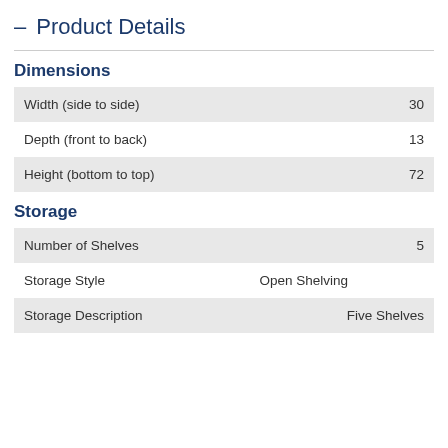— Product Details
Dimensions
|  |  |
| --- | --- |
| Width (side to side) | 30 |
| Depth (front to back) | 13 |
| Height (bottom to top) | 72 |
Storage
|  |  |
| --- | --- |
| Number of Shelves | 5 |
| Storage Style | Open Shelving |
| Storage Description | Five Shelves |